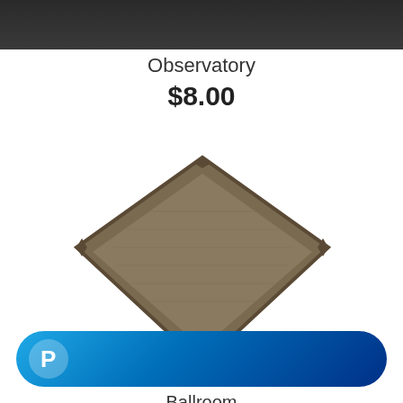[Figure (photo): Dark background image at the top of the page, partially cropped]
Observatory
$8.00
[Figure (photo): A brown/tan square game tile piece photographed at an angle on white background, resembling a wooden floor tile with raised edges]
[Figure (logo): PayPal checkout button - blue rounded rectangle with PayPal logo (white P icon on left)]
Ballroom